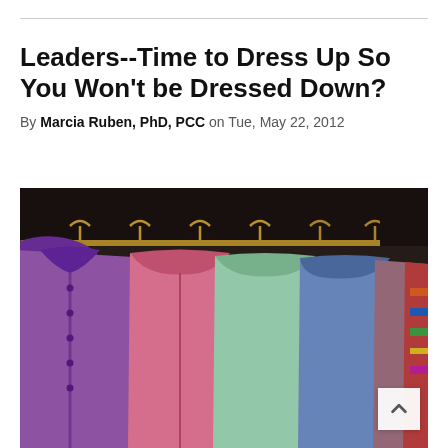Leaders--Time to Dress Up So You Won't be Dressed Down?
By Marcia Ruben, PhD, PCC on Tue, May 22, 2012
[Figure (photo): A row of colorful shirts and jackets hanging on a clothing rack in a closet, including purple, pink, mint green, blue, and other colors.]